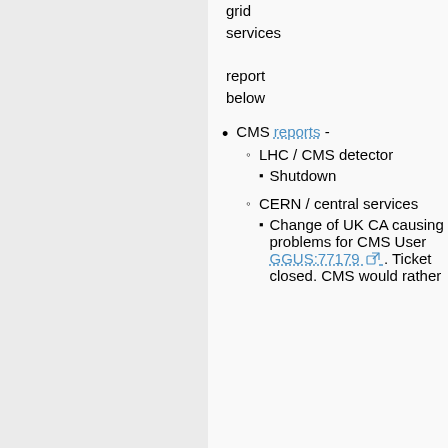grid services report below
CMS reports -
LHC / CMS detector
Shutdown
CERN / central services
Change of UK CA causing problems for CMS User GGUS:77179. Ticket closed. CMS would rather